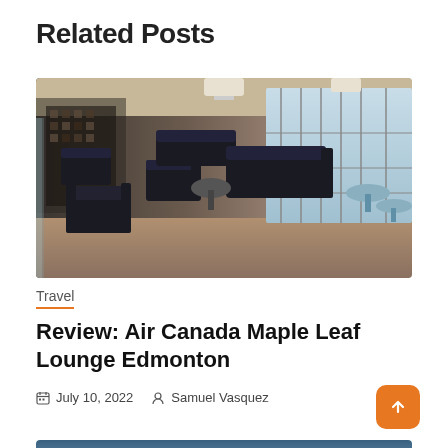Related Posts
[Figure (photo): Interior of Air Canada Maple Leaf Lounge Edmonton showing dark leather armchairs and sofas, small round tables, decorative wall partition, and large windows with airport tarmac view]
Travel
Review: Air Canada Maple Leaf Lounge Edmonton
July 10, 2022   Samuel Vasquez
[Figure (photo): Partial view of a second related post image at the bottom of the page — appears to show a sky or outdoor scene]